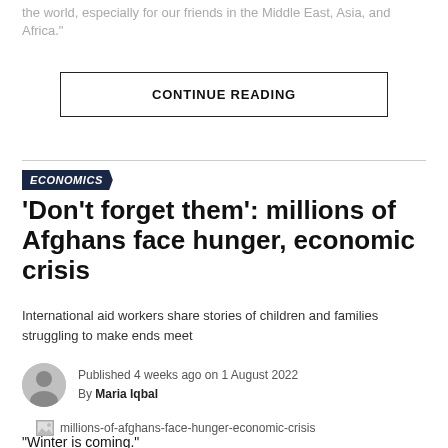the world, especially for our friends in the Middle East, Asia, and Africa."
CONTINUE READING
ECONOMICS
'Don't forget them': millions of Afghans face hunger, economic crisis
International aid workers share stories of children and families struggling to make ends meet
Published 4 weeks ago on 1 August 2022
By Maria Iqbal
[Figure (photo): Image placeholder for article: millions-of-afghans-face-hunger-economic-crisis]
"Winter is coming."